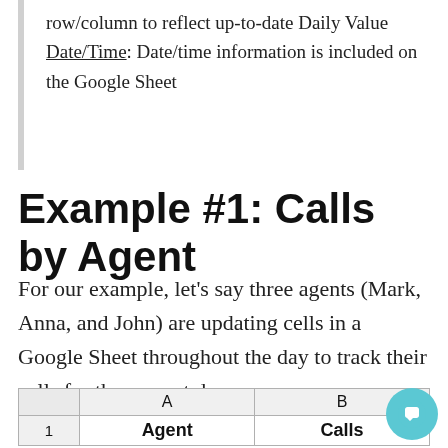row/column to reflect up-to-date Daily Value
Date/Time: Date/time information is included on the Google Sheet
Example #1: Calls by Agent
For our example, let's say three agents (Mark, Anna, and John) are updating cells in a Google Sheet throughout the day to track their calls for the current day.
|  | A | B |
| --- | --- | --- |
| 1 | Agent | Calls |